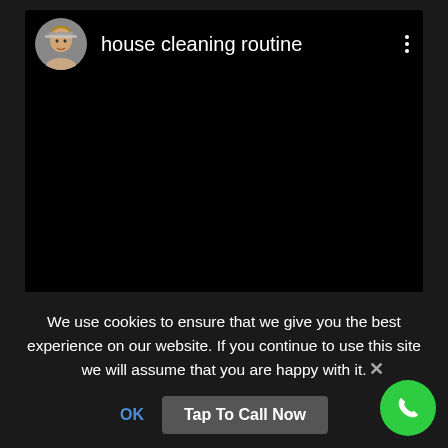[Figure (screenshot): Video player UI with a circular avatar photo of a woman wearing a hat, channel name 'house cleaning routine', three-dot menu icon, and a black video body area]
We use cookies to ensure that we give you the best experience on our website. If you continue to use this site we will assume that you are happy with it.
OK
Tap To Call Now